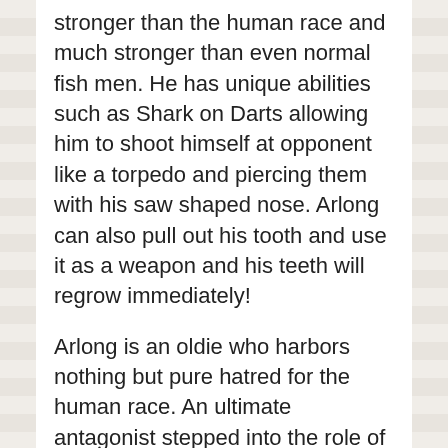stronger than the human race and much stronger than even normal fish men. He has unique abilities such as Shark on Darts allowing him to shoot himself at opponent like a torpedo and piercing them with his saw shaped nose. Arlong can also pull out his tooth and use it as a weapon and his teeth will regrow immediately!
Arlong is an oldie who harbors nothing but pure hatred for the human race. An ultimate antagonist stepped into the role of a villain like no other One Piece antagonist before him, he was dominant, intimidating, and painstakingly cruel despite that he had the depth to him. Particularly in the way that he genuinely cared for his own crew members as well as his pride in the